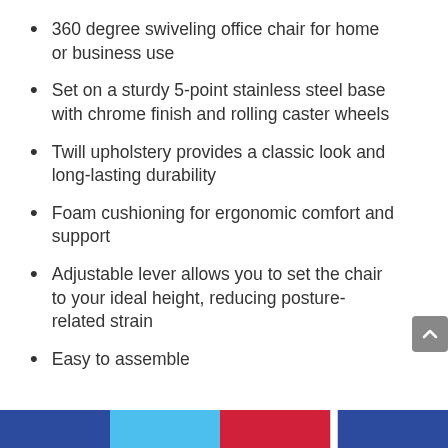360 degree swiveling office chair for home or business use
Set on a sturdy 5-point stainless steel base with chrome finish and rolling caster wheels
Twill upholstery provides a classic look and long-lasting durability
Foam cushioning for ergonomic comfort and support
Adjustable lever allows you to set the chair to your ideal height, reducing posture-related strain
Easy to assemble